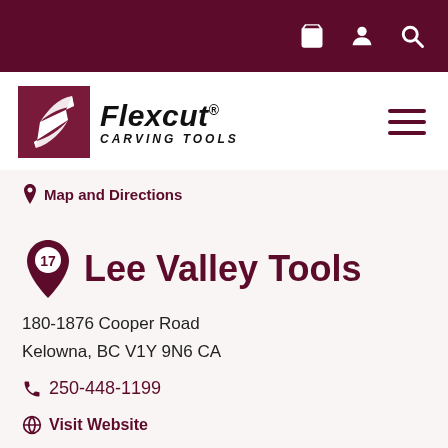Flexcut Carving Tools website header with shopping bag, account, and search icons
[Figure (logo): Flexcut Carving Tools logo with maroon square icon and italic bold text]
Map and Directions
Lee Valley Tools
180-1876 Cooper Road
Kelowna, BC V1Y 9N6 CA
250-448-1199
Visit Website